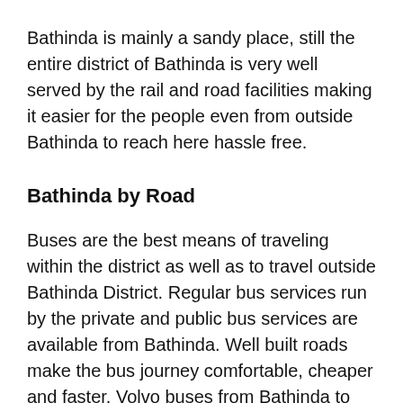Bathinda is mainly a sandy place, still the entire district of Bathinda is very well served by the rail and road facilities making it easier for the people even from outside Bathinda to reach here hassle free.
Bathinda by Road
Buses are the best means of traveling within the district as well as to travel outside Bathinda District. Regular bus services run by the private and public bus services are available from Bathinda. Well built roads make the bus journey comfortable, cheaper and faster. Volvo buses from Bathinda to Chandigarh, Delhi, Amritsar and other places are also available. Online booking of tickets is also offered. Inter State Bus Terminus in Bathinda is going to make the road transport services